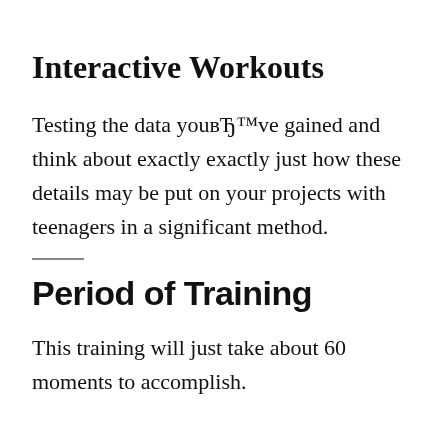Interactive Workouts
Testing the data youвЂ™ve gained and think about exactly exactly just how these details may be put on your projects with teenagers in a significant method.
Period of Training
This training will just take about 60 moments to accomplish.